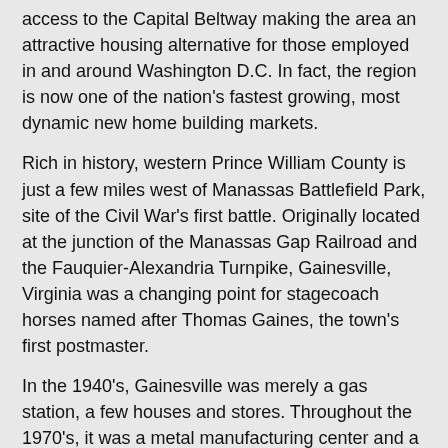access to the Capital Beltway making the area an attractive housing alternative for those employed in and around Washington D.C. In fact, the region is now one of the nation's fastest growing, most dynamic new home building markets.
Rich in history, western Prince William County is just a few miles west of Manassas Battlefield Park, site of the Civil War's first battle. Originally located at the junction of the Manassas Gap Railroad and the Fauquier-Alexandria Turnpike, Gainesville, Virginia was a changing point for stagecoach horses named after Thomas Gaines, the town's first postmaster.
In the 1940's, Gainesville was merely a gas station, a few houses and stores. Throughout the 1970's, it was a metal manufacturing center and a cattle shipping hub. In the 1980's and 1990's, Centreville, VA was known as the Interstate corridor's new home market value. Today, urban sprawl has turned several miles westward to Gainesville, Haymarket and Bristow. These modern suburban boom